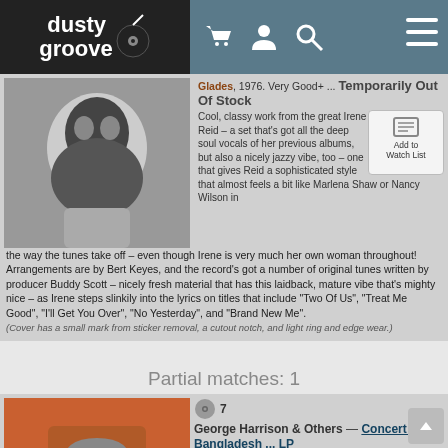dusty groove
Glades, 1976. Very Good+ ... Temporarily Out Of Stock
Cool, classy work from the great Irene Reid – a set that's got all the deep soul vocals of her previous albums, but also a nicely jazzy vibe, too – one that gives Reid a sophisticated style that almost feels a bit like Marlena Shaw or Nancy Wilson in the way the tunes take off – even though Irene is very much her own woman throughout! Arrangements are by Bert Keyes, and the record's got a number of original tunes written by producer Buddy Scott – nicely fresh material that has this laidback, mature vibe that's mighty nice – as Irene steps slinkily into the lyrics on titles that include "Two Of Us", "Treat Me Good", "I'll Get You Over", "No Yesterday", and "Brand New Me".
(Cover has a small mark from sticker removal, a cutout notch, and light ring and edge wear.)
Partial matches: 1
7 George Harrison & Others — Concert For Bangladesh ... LP
Apple, 1971. Very Good+ 3LP Box Set ... $24.99 29.99
... (Includes booklet and original sleeves. Cover has light edge & surface wear, some split seams, but is sturdy overall.)